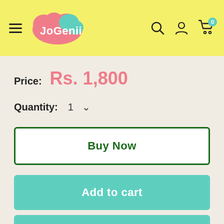[Figure (screenshot): JoGenii e-commerce website header with yellow background, hamburger menu, JoGenii logo (pink/teal cloud shape), search icon, user icon, and cart icon with badge showing 0]
Price: Rs. 1,800
Quantity: 1
Buy Now
Add to cart
♡ Add to Wishlist (1)